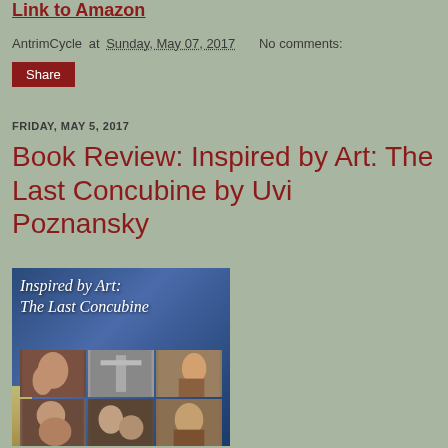Link to Amazon
AntrimCycle at Sunday, May 07, 2017   No comments:
Share
FRIDAY, MAY 5, 2017
Book Review: Inspired by Art: The Last Concubine by Uvi Poznansky
[Figure (photo): Book cover of 'Inspired by Art: The Last Concubine' showing the title text in italic script on a blue swirling background, with a grid of six classical paintings below depicting various figures in Renaissance and Middle Eastern styles.]